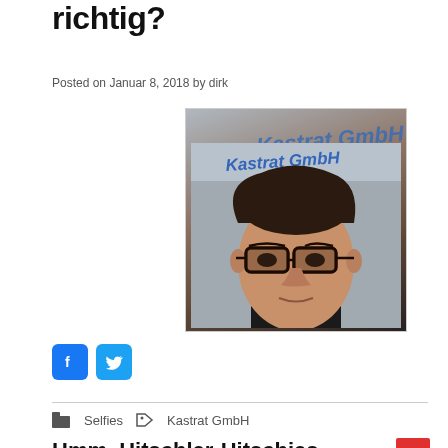richtig?
Posted on Januar 8, 2018 by dirk
[Figure (photo): Selfie photo of a man with dark curly hair wearing glasses, taken in front of a sign reading 'Kastrat GmbH']
[Figure (other): Facebook and Twitter social share icons]
Selfies   Kastrat GmbH
Hmm, Hitschler-Hitschies ..